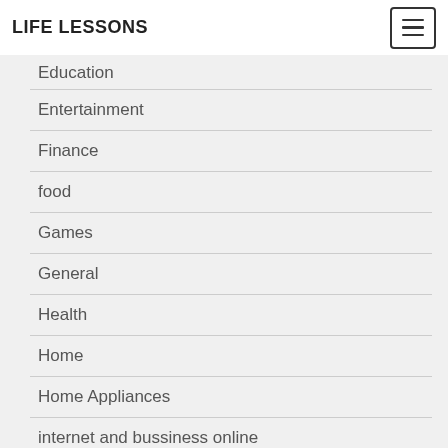LIFE LESSONS
Education
Entertainment
Finance
food
Games
General
Health
Home
Home Appliances
internet and bussiness online
Internet Marketing